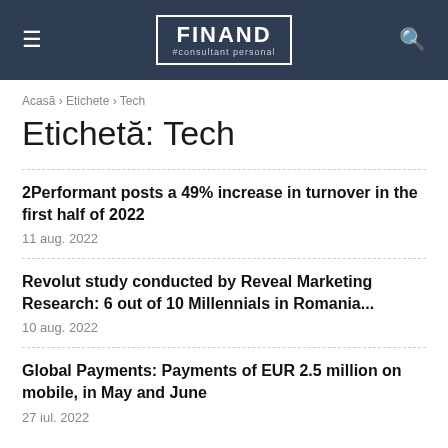FINAND #consultant personal
Acasă › Etichete › Tech
Etichetă: Tech
2Performant posts a 49% increase in turnover in the first half of 2022
11 aug. 2022
Revolut study conducted by Reveal Marketing Research: 6 out of 10 Millennials in Romania...
10 aug. 2022
Global Payments: Payments of EUR 2.5 million on mobile, in May and June
27 iul. 2022